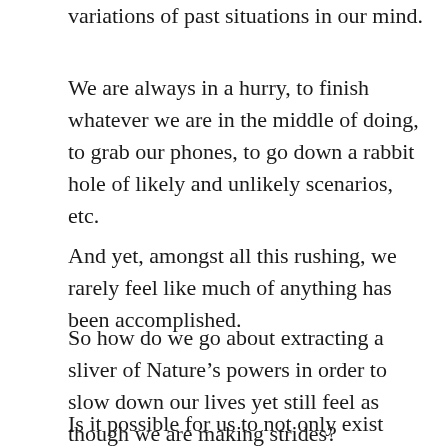variations of past situations in our mind.
We are always in a hurry, to finish whatever we are in the middle of doing, to grab our phones, to go down a rabbit hole of likely and unlikely scenarios, etc.
And yet, amongst all this rushing, we rarely feel like much of anything has been accomplished.
So how do we go about extracting a sliver of Nature’s powers in order to slow down our lives yet still feel as though we are making strides?
Is it possible for us to not only exist more fully in the moment but also feel a sense of certainty or faith,